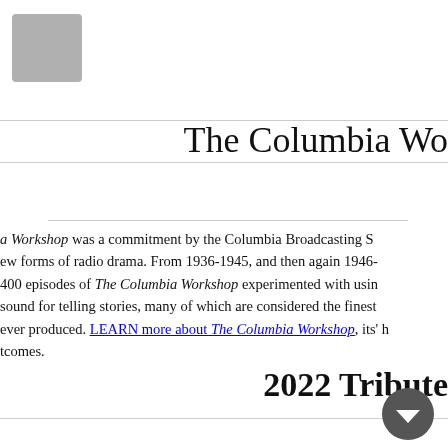[Figure (other): Gray placeholder logo/image box in top left]
The Columbia Wo
a Workshop was a commitment by the Columbia Broadcasting S ew forms of radio drama. From 1936-1945, and then again 1946- 400 episodes of The Columbia Workshop experimented with usin sound for telling stories, many of which are considered the finest ever produced. LEARN more about The Columbia Workshop, its' h tcomes.
2022 Tribute